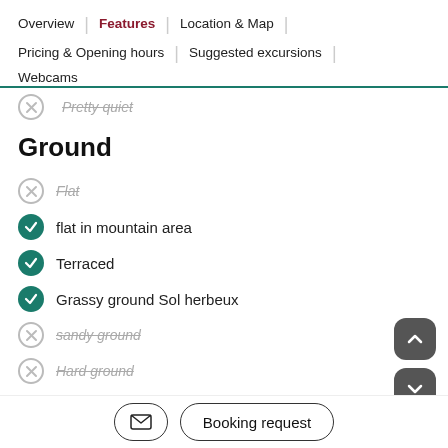Overview | Features | Location & Map | Pricing & Opening hours | Suggested excursions | Webcams
Pretty quiet (not available, strikethrough)
Ground
Flat (not available, strikethrough)
flat in mountain area (available, checked)
Terraced (available, checked)
Grassy ground Sol herbeux (available, checked)
sandy ground (not available, strikethrough)
Hard ground (not available, strikethrough)